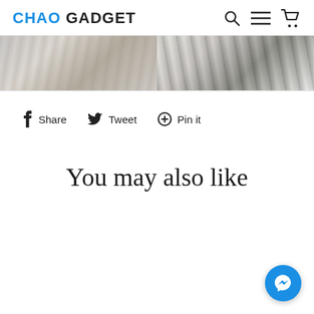CHAO GADGET
[Figure (photo): Two side-by-side product images showing fabric/clothing items in grey and white tones]
f Share   Tweet   Pin it
You may also like
[Figure (logo): Facebook Messenger floating button in blue]